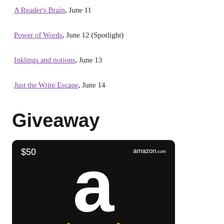A Reader's Brain, June 11
Power of Words, June 12 (Spotlight)
Inklings and notions, June 13
Just the Write Escape, June 14
Giveaway
[Figure (photo): Amazon.com $50 gift card with black background, large white 'a' logo, and orange smile arrow]